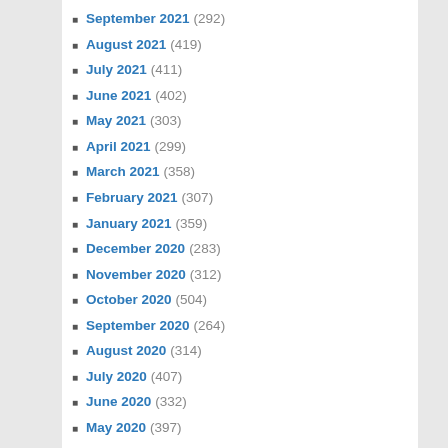September 2021 (292)
August 2021 (419)
July 2021 (411)
June 2021 (402)
May 2021 (303)
April 2021 (299)
March 2021 (358)
February 2021 (307)
January 2021 (359)
December 2020 (283)
November 2020 (312)
October 2020 (504)
September 2020 (264)
August 2020 (314)
July 2020 (407)
June 2020 (332)
May 2020 (397)
April 2020 (396)
March 2020 (368)
February 2020 (219)
January 2020 (325)